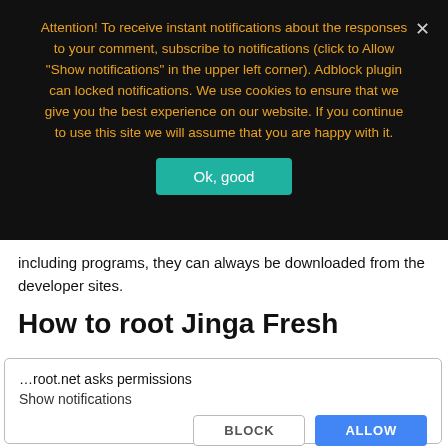Attention! To receive instant notifications about the responses to your comment, subscribe to notifications (click to Allow "Show notifications" in the upper left corner). Adblock plugin can locked notifications. We use cookies to ensure that we give you the best experience on our website. If you continue to use this site we will assume that you are happy with it.
including programs, they can always be downloaded from the developer sites.
How to root Jinga Fresh
…root.net asks permissions
Show notifications